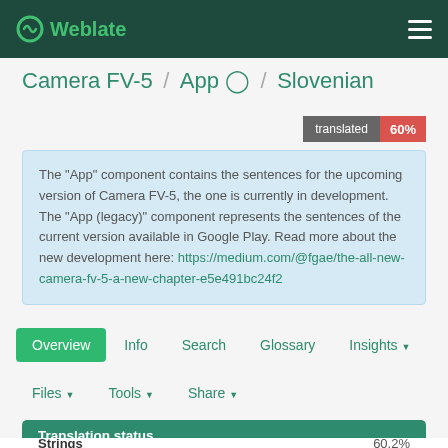Weblate
Camera FV-5 / App ⓘ / Slovenian
translated 60%
The "App" component contains the sentences for the upcoming version of Camera FV-5, the one is currently in development. The "App (legacy)" component represents the sentences of the current version available in Google Play. Read more about the new development here: https://medium.com/@fgae/the-all-new-camera-fv-5-a-new-chapter-e5e491bc24f2
Overview
Info
Search
Glossary
Insights ▾
Files ▾
Tools ▾
Share ▾
Translation status
Strings  60.2%